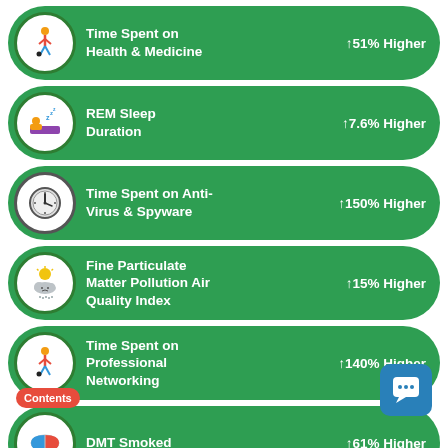Time Spent on Health & Medicine ↑51% Higher
REM Sleep Duration ↑7.6% Higher
Time Spent on Anti-Virus & Spyware ↑150% Higher
Fine Particulate Matter Pollution Air Quality Index ↑15% Higher
Time Spent on Professional Networking ↑140% Higher
DMT Smoked ↑61% Higher
Peak Heart Rate